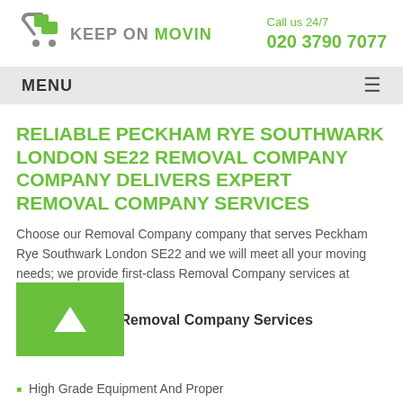[Figure (logo): Keep On Movin logo with shopping cart icon in green and grey text]
Call us 24/7
020 3790 7077
MENU
RELIABLE PECKHAM RYE SOUTHWARK LONDON SE22 REMOVAL COMPANY COMPANY DELIVERS EXPERT REMOVAL COMPANY SERVICES
Choose our Removal Company company that serves Peckham Rye Southwark London SE22 and we will meet all your moving needs; we provide first-class Removal Company services at competitive prices.
Why Book Our Removal Company Services
High Grade Equipment And Proper